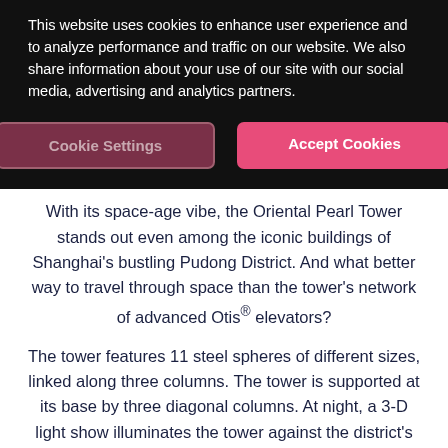This website uses cookies to enhance user experience and to analyze performance and traffic on our website. We also share information about your use of our site with our social media, advertising and analytics partners.
[Figure (screenshot): Cookie Settings and Accept Cookies buttons on dark background]
With its space-age vibe, the Oriental Pearl Tower stands out even among the iconic buildings of Shanghai's bustling Pudong District. And what better way to travel through space than the tower's network of advanced Otis® elevators?
The tower features 11 steel spheres of different sizes, linked along three columns. The tower is supported at its base by three diagonal columns. At night, a 3-D light show illuminates the tower against the district's celebrated skyline.